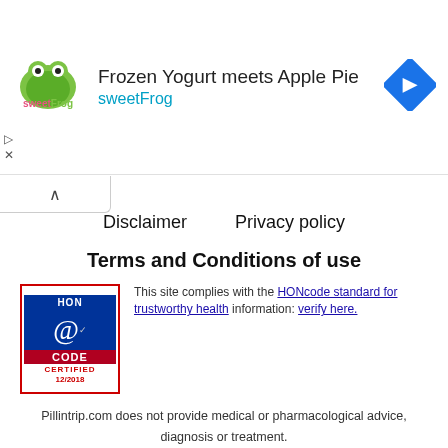[Figure (illustration): sweetFrog advertisement banner with logo, text 'Frozen Yogurt meets Apple Pie' and 'sweetFrog', and a blue diamond navigation icon]
Disclaimer   Privacy policy
Terms and Conditions of use
[Figure (logo): HONcode certified badge with blue background, @ symbol, and red 'CODE' text, certified 12/2018]
This site complies with the HONcode standard for trustworthy health information: verify here.
Pillintrip.com does not provide medical or pharmacological advice, diagnosis or treatment.
Attention! Always consult to a doctor or pharmacist before using pills or medicines.
All rights reserved © Pillintrip.com 2016 - 2022